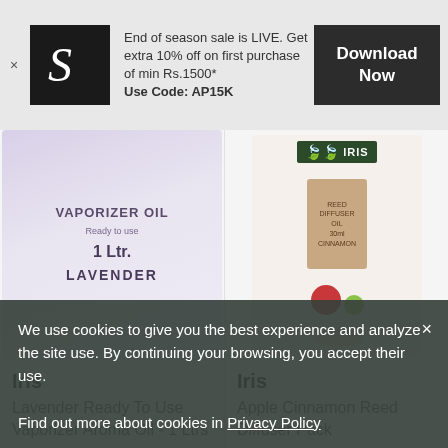[Figure (screenshot): App promotional banner with logo (stylized S), promotional text about end of season sale, and Download Now button]
End of season sale is LIVE. Get extra 10% off on first purchase of min Rs.1500* Use Code: AP15K
[Figure (photo): Lavender Vaporizer Oil 1 Ltr bottle with floral pattern packaging]
[Figure (photo): Iris Apple Cinnamon Reed Diffuser Pack product box]
Iris
Lavender Ready To Use Vaporizer Aroma Oil - 1 Ltrs
₹900 ₹1000 10% off
Iris
Apple Cinnamon Reed Diffuser Pack
₹360 ₹400 10% off
We use cookies to give you the best experience and analyze the site use. By continuing your browsing, you accept their use.

Find out more about cookies in Privacy Policy